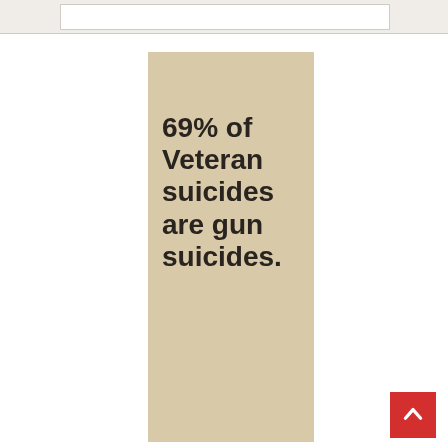[Figure (infographic): Beige/tan colored infographic card with bold dark text reading '69% of Veteran suicides are gun suicides.' on a tan background]
[Figure (infographic): Red back-to-top button with white upward chevron arrow in the bottom right corner]